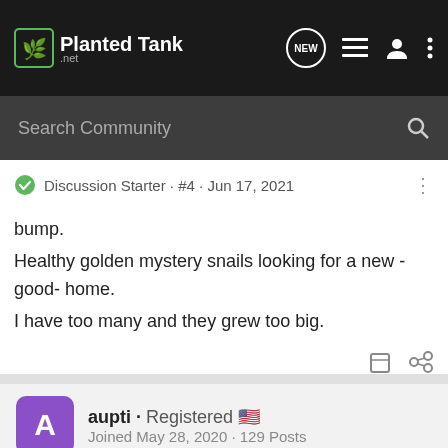Planted Tank .net — NEW [navigation icons]
Search Community
Discussion Starter · #4 · Jun 17, 2021
bump.
Healthy golden mystery snails looking for a new -good- home.
I have too many and they grew too big.
aupti · Registered 🇺🇸
Joined May 28, 2020 · 129 Posts